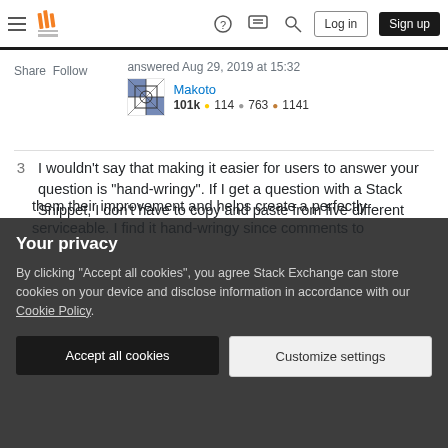Stack Overflow navigation bar with Log in and Sign up buttons
Share  Follow  answered Aug 29, 2019 at 15:32  Makoto  101k  114  763  1141
3  I wouldn't say that making it easier for users to answer your question is "hand-wringy". If I get a question with a Stack Snippet, I don't have to copy and paste from five different code blocks and try and munge them together into a moderately coherent answer: I can click on Copy Snippet to Answer, fix their code, add an explanation of what I changed, and be done. That gets them their improvement and helps create a perfectly serviceable. I find it hand-wringy since comments to
Your privacy
By clicking "Accept all cookies", you agree Stack Exchange can store cookies on your device and disclose information in accordance with our Cookie Policy.
Accept all cookies
Customize settings